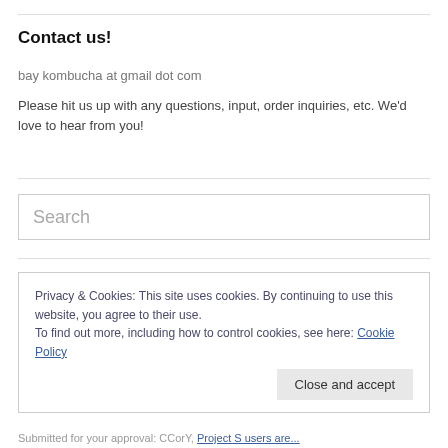Contact us!
bay kombucha at gmail dot com
Please hit us up with any questions, input, order inquiries, etc. We'd love to hear from you!
Search
Privacy & Cookies: This site uses cookies. By continuing to use this website, you agree to their use.
To find out more, including how to control cookies, see here: Cookie Policy
Close and accept
Submitted for your approval: CCorY, Project S users are...